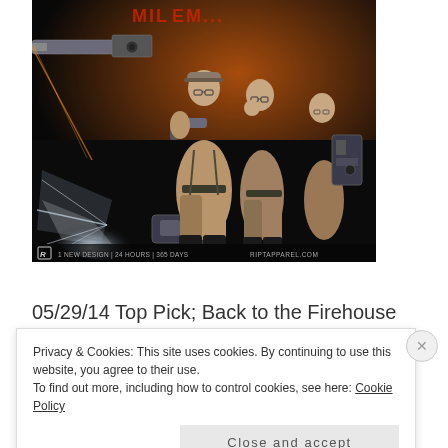[Figure (illustration): Comic/retro illustration of three Ghostbusters characters in jumpsuits holding proton pack weapons, set against a dark orange and black background. Bottom bar shows the R logo, '1 NEW DESIGN | 24 HOURS | 365 DAYS' and 'RIPTAPPAREL.COM']
05/29/14 Top Pick; Back to the Firehouse
Privacy & Cookies: This site uses cookies. By continuing to use this website, you agree to their use.
To find out more, including how to control cookies, see here: Cookie Policy
Close and accept